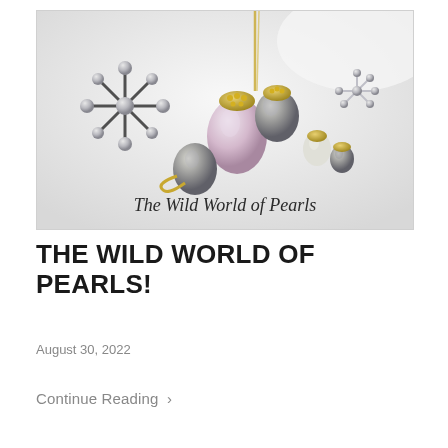[Figure (photo): Jewelry photo showing various pearl pieces including a starburst brooch with grey pearls, pendant necklaces with Tahitian and baroque pearls in gold settings, a ring with a grey Tahitian pearl, and earrings with keshi pearls. Text overlay reads 'The Wild World of Pearls' in italic serif font.]
THE WILD WORLD OF PEARLS!
August 30, 2022
Continue Reading  >